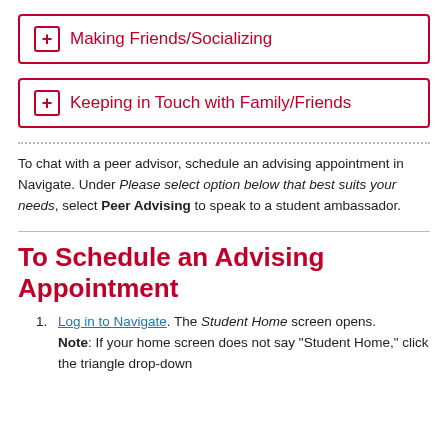Making Friends/Socializing
Keeping in Touch with Family/Friends
To chat with a peer advisor, schedule an advising appointment in Navigate. Under Please select option below that best suits your needs, select Peer Advising to speak to a student ambassador.
To Schedule an Advising Appointment
Log in to Navigate. The Student Home screen opens.
Note: If your home screen does not say "Student Home," click the triangle drop-down